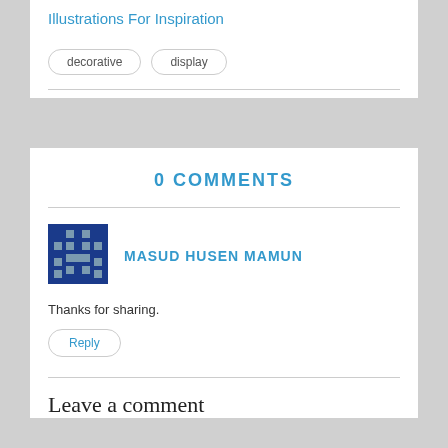Illustrations For Inspiration
decorative
display
0 COMMENTS
MASUD HUSEN MAMUN
Thanks for sharing.
Reply
Leave a comment